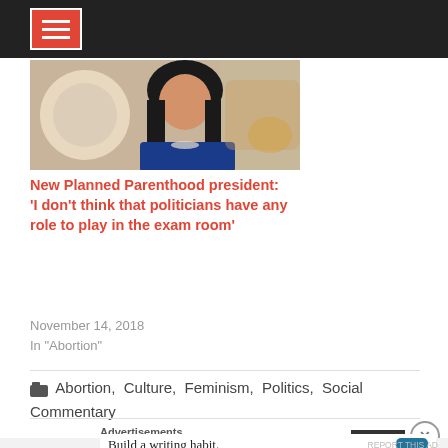[Figure (screenshot): Dark navigation bar with red menu hamburger icon (three white horizontal lines on red square with white border)]
[Figure (photo): Photo of an Asian woman with dark hair wearing a blue outfit with a necklace, seated in a TV interview setting with blurred background]
New Planned Parenthood president: 'I don’t think that politicians have any role to play in the exam room'
November 14, 2018
In "Abortion"
Abortion, Culture, Feminism, Politics, Social Commentary
Advertisements
Build a writing habit. Post on the go.
GET THE APP
REPORT THIS AD